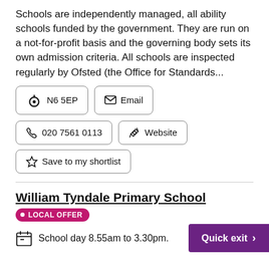Schools are independently managed, all ability schools funded by the government. They are run on a not-for-profit basis and the governing body sets its own admission criteria. All schools are inspected regularly by Ofsted (the Office for Standards...
N6 5EP
Email
020 7561 0113
Website
Save to my shortlist
William Tyndale Primary School
• LOCAL OFFER
School day 8.55am to 3.30pm.